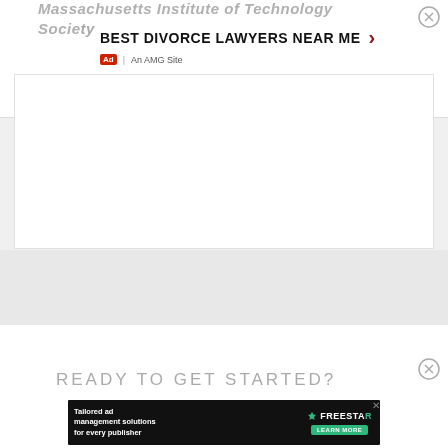Massachusetts Institute of Technology
Society
[Figure (screenshot): Advertisement banner: BEST DIVORCE LAWYERS NEAR ME with right arrow, Ad label and An AMG Site text below, white content box below]
READY TO GET STARTED?
[Figure (screenshot): Freestar ad: Tailored ad management solutions for every publisher, LEARN MORE button]